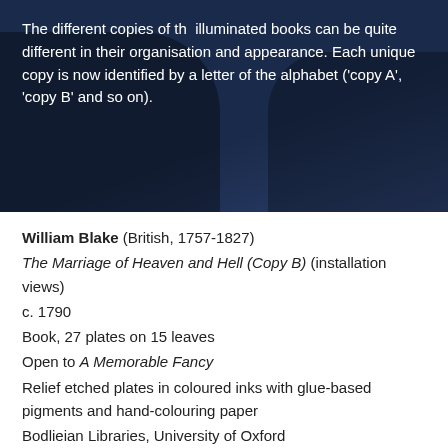[Figure (photo): Dark blue photograph showing a partially visible figure, with white text overlay describing illuminated books]
The different copies of th illuminated books can be quite different in their organisation and appearance. Each unique copy is now identified by a letter of the alphabet ('copy A', 'copy B' and so on).
William Blake (British, 1757-1827)
The Marriage of Heaven and Hell (Copy B) (installation views)
c. 1790
Book, 27 plates on 15 leaves
Open to A Memorable Fancy
Relief etched plates in coloured inks with glue-based pigments and hand-colouring paper
Bodlieian Libraries, University of Oxford
Photos: Marcus Bunyan